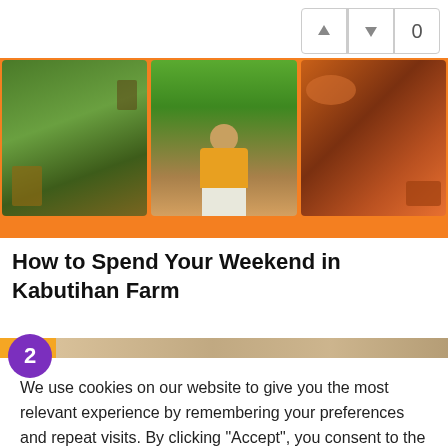[Figure (photo): Vote up/down buttons with count 0 in top right corner]
[Figure (photo): Hero banner with three photo panels: a farm/garden scene on left, a person in yellow shirt seated in center, and food/produce on right, all on an orange background]
How to Spend Your Weekend in Kabutihan Farm
[Figure (other): Step 2 orange progress bar with purple circle containing number 2]
We use cookies on our website to give you the most relevant experience by remembering your preferences and repeat visits. By clicking “Accept”, you consent to the use of ALL the cookies. Do not sell my personal information.
Cookie Settings  Accept